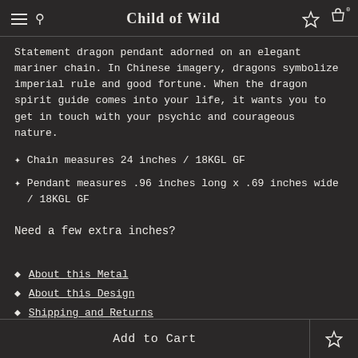Child of Wild
Statement dragon pendant adorned on an elegant mariner chain. In Chinese imagery, dragons symbolize imperial rule and good fortune. When the dragon spirit guide comes into your life, it wants you to get in touch with your psychic and courageous nature.
Chain measures 24 inches / 18KGL GF
Pendant measures .96 inches long x .69 inches wide / 18KGL GF
Need a few extra inches?
About this Metal
About this Design
Shipping and Returns
Add to Cart